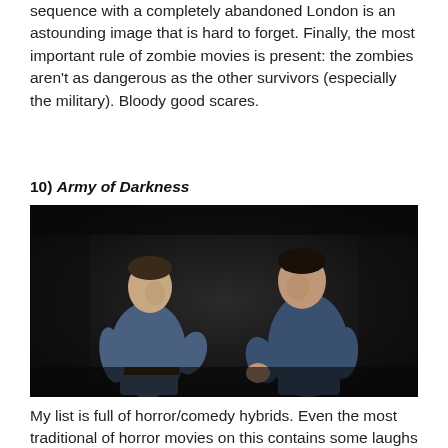sequence with a completely abandoned London is an astounding image that is hard to forget. Finally, the most important rule of zombie movies is present: the zombies aren't as dangerous as the other survivors (especially the military). Bloody good scares.
10) Army of Darkness
[Figure (photo): A dark film still from Army of Darkness showing two men facing each other in a dimly lit scene, both wearing blue shirts.]
My list is full of horror/comedy hybrids. Even the most traditional of horror movies on this contains some laughs (except for 28 Days Later). I don't always